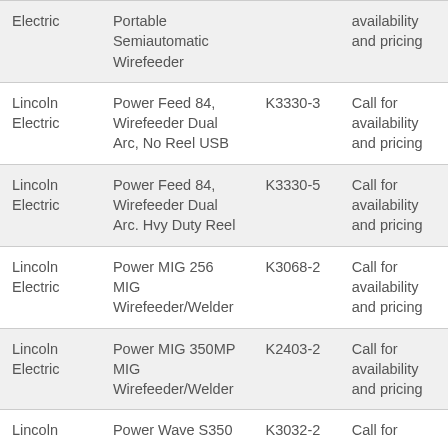| Electric | Portable Semiautomatic Wirefeeder |  | availability and pricing |
| Lincoln Electric | Power Feed 84, Wirefeeder Dual Arc, No Reel USB | K3330-3 | Call for availability and pricing |
| Lincoln Electric | Power Feed 84, Wirefeeder Dual Arc. Hvy Duty Reel | K3330-5 | Call for availability and pricing |
| Lincoln Electric | Power MIG 256 MIG Wirefeeder/Welder | K3068-2 | Call for availability and pricing |
| Lincoln Electric | Power MIG 350MP MIG Wirefeeder/Welder | K2403-2 | Call for availability and pricing |
| Lincoln | Power Wave S350 | K3032-2 | Call for |